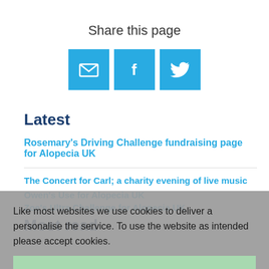Share this page
[Figure (infographic): Three share buttons: email (envelope icon), Facebook (f icon), Twitter (bird icon), all in cyan/blue background]
Latest
Rosemary's Driving Challenge fundraising page for Alopecia UK
The Concert for Carl; a charity evening of live music
Owen's Use for Alopecia UK
Zoe's Ultra Challenge for Alopecia UK
Like most websites we use cookies to deliver a personalise the service. To use the website as intended please accept cookies.
Accept Cookies
Most read